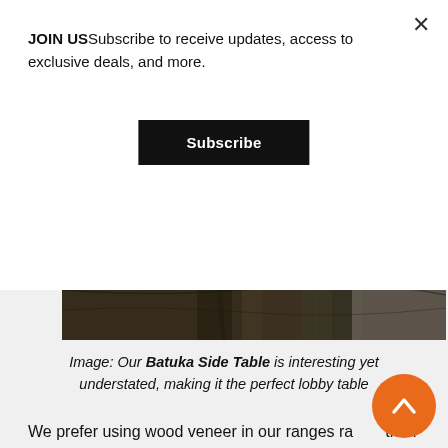JOIN USSubscribe to receive updates, access to exclusive deals, and more.
Subscribe
[Figure (photo): Close-up of dark wood grain texture, showing the surface of a wooden side table]
Image: Our Batuka Side Table is interesting yet understated, making it the perfect lobby table
We prefer using wood veneer in our ranges rather than solid wood for numerous reasons. Firstly, the scarcity and cost of solid wood can be prohibitive